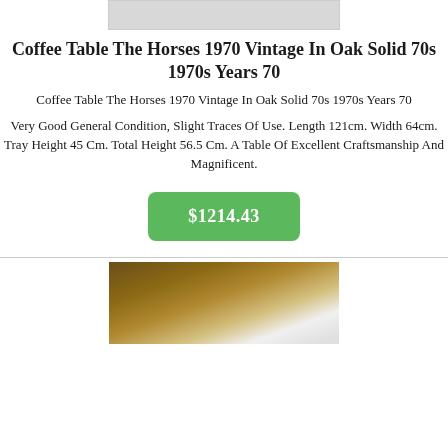[Figure (photo): Top portion of a product photo (light gray/white object on light background)]
Coffee Table The Horses 1970 Vintage In Oak Solid 70s 1970s Years 70
Coffee Table The Horses 1970 Vintage In Oak Solid 70s 1970s Years 70
Very Good General Condition, Slight Traces Of Use. Length 121cm. Width 64cm. Tray Height 45 Cm. Total Height 56.5 Cm. A Table Of Excellent Craftsmanship And Magnificent.
$1214.43
[Figure (photo): Product photo showing a white/cream coffee table on a wooden surface]